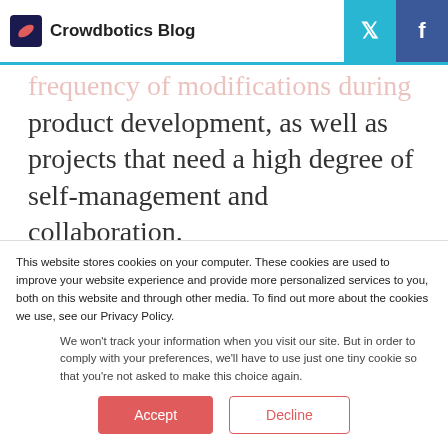Crowdbotics Blog
frequency of modifications during product development, as well as projects that need a high degree of self-management and collaboration.
Critical Path Method should be considered when there are multiple inter-dependent components in a
This website stores cookies on your computer. These cookies are used to improve your website experience and provide more personalized services to you, both on this website and through other media. To find out more about the cookies we use, see our Privacy Policy.
We won't track your information when you visit our site. But in order to comply with your preferences, we'll have to use just one tiny cookie so that you're not asked to make this choice again.